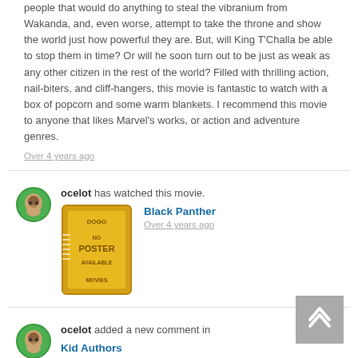people that would do anything to steal the vibranium from Wakanda, and, even worse, attempt to take the throne and show the world just how powerful they are. But, will King T'Challa be able to stop them in time? Or will he soon turn out to be just as weak as any other citizen in the rest of the world? Filled with thrilling action, nail-biters, and cliff-hangers, this movie is fantastic to watch with a box of popcorn and some warm blankets. I recommend this movie to anyone that likes Marvel's works, or action and adventure genres.
Over 4 years ago
ocelot has watched this movie.
Black Panther
Over 4 years ago
[Figure (illustration): No Poster Available movie ticket stub graphic]
ocelot added a new comment in
Kid Authors
I have read Kid Presidents and Kid Athletes, and enjoyed reading them a lot. Because this is the same series, I expect to value and enjoy this book as much as the others. I can't wait to begin reading